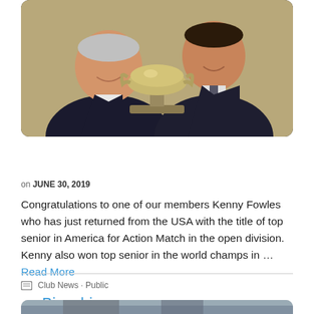[Figure (photo): Two men in dark suits smiling and holding a silver trophy cup together indoors]
Bianchi Cup in America
on JUNE 30, 2019
Congratulations to one of our members Kenny Fowles who has just returned from the USA with the title of top senior in America for Action Match in the open division. Kenny also won top senior in the world champs in … Read More
Club News · Public
[Figure (photo): Partial photo visible at bottom of page, appears to be an outdoor or equipment photo]